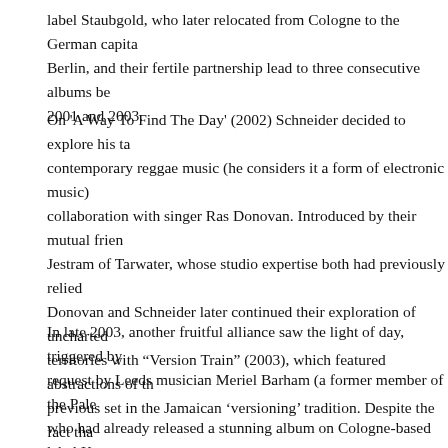label Staubgold, who later relocated from Cologne to the German capital Berlin, and their fertile partnership lead to three consecutive albums be- 2001 and 2003.
On 'A Way To Find The Day' (2002) Schneider decided to explore his ta- contemporary reggae music (he considers it a form of electronic music) collaboration with singer Ras Donovan. Introduced by their mutual frien- Jestram of Tarwater, whose studio expertise both had previously relied Donovan and Schneider later continued their exploration of uncharted territories with "Version Train" (2003), which featured abstractions of th- previous set in the Jamaican 'versioning' tradition. Despite the fact tha- like 'New Direction' or 'Stand me Stand' were obviously carried by Ras Donovan's plaintive voice, Schneider never intended to compete with th- genre's Caribbean originators, but instead pursued his very own imagin- decidedly non-authentic take on reggae music.
In late 2003, another fruitful alliance saw the light of day, triggered by request by Leeds musician Meriel Barham (a former member of the Pale who had already released a stunning album on Cologne-based label Ka- Kalk as Kuchen), a request Stefan rejected in favour of a collaboration on sending each other musical sketches on mini disc. After two years o- exchange Meriel and Stefan finished their "Kuchen Meets Mapstation" a